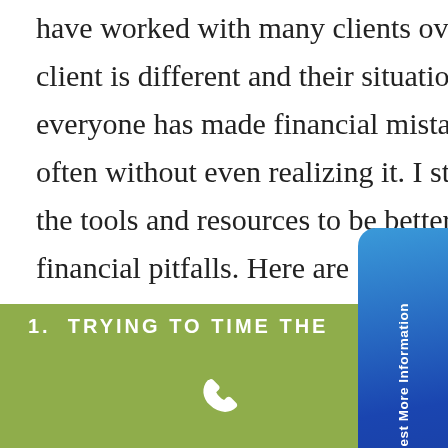have worked with many clients over the years. Even though each client is different and their situations are unique, I've found that everyone has made financial mistakes at one point or another, often without even realizing it. I strive to provide my clients with the tools and resources to be better prepared for the future by avoiding financial pitfalls. Here are 6 common financial mistakes I've seen over the years and how you can help prevent them from wreaking havoc on your financial future.
1. TRYING TO TIME THE
[Figure (other): Green bottom bar with phone icon and accessibility button]